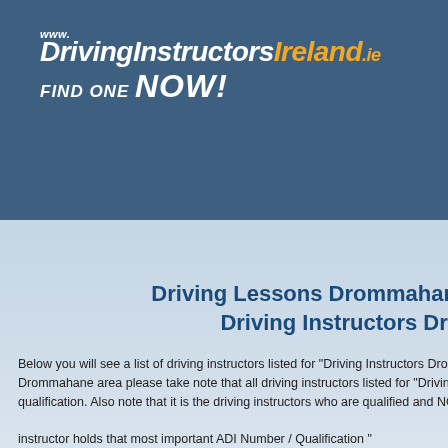[Figure (logo): DrivingInstructorsIreland.ie logo with text 'www.DrivingInstructorsIreland.ie FIND ONE NOW!' on a dark blue banner background]
Driving Lessons Drommahane, Driving Instructors Dro...
Below you will see a list of driving instructors listed for "Driving Instructors Drom... Drommahane area please take note that all driving instructors listed for "Driving qualification. Also note that it is the driving instructors who are qualified and NO... instructor holds that most important ADI Number / Qualification "
[Figure (logo): ADI (Approved Driving Instructor) logo badge]